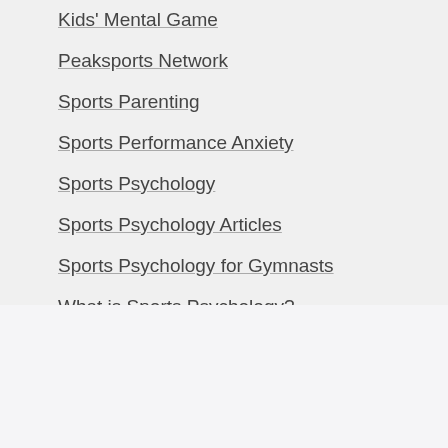Kids' Mental Game
Peaksports Network
Sports Parenting
Sports Performance Anxiety
Sports Psychology
Sports Psychology Articles
Sports Psychology for Gymnasts
What is Sports Psychology?
Search Tennis Psychology Articles
Search this website